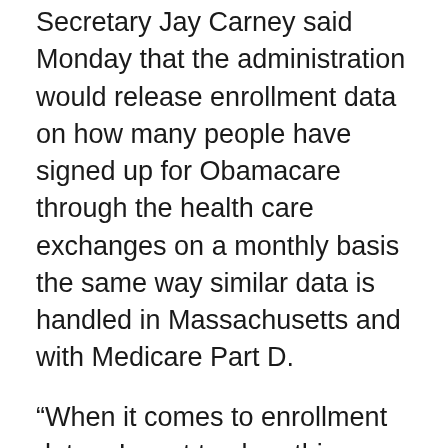Secretary Jay Carney said Monday that the administration would release enrollment data on how many people have signed up for Obamacare through the health care exchanges on a monthly basis the same way similar data is handled in Massachusetts and with Medicare Part D.
“When it comes to enrollment data – I want to clear this up – we will release data on regular monthly intervals just like was done in Massachusetts and just like what was done and is done when it comes to Medicare Part D,” Carney said when a reporter asked whether the White House knew how many